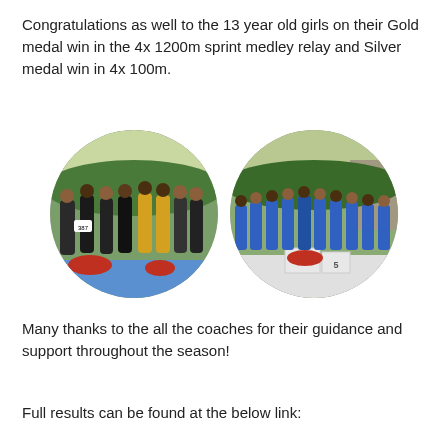Congratulations as well to the 13 year old girls on their Gold medal win in the 4x 1200m sprint medley relay and Silver medal win in 4x 100m.
[Figure (photo): Group photo of young female athletes posing together at a track and field competition, medals visible, holding trophies, standing in front of green bushes with blue podium in foreground with red flowers.]
[Figure (photo): Group photo of young female athletes in blue uniforms at a track and field competition, sitting and standing on a podium with numbers 3 and 5 visible, with flowers and a rocky backdrop.]
Many thanks to the all the coaches for their guidance and support throughout the season!
Full results can be found at the below link: